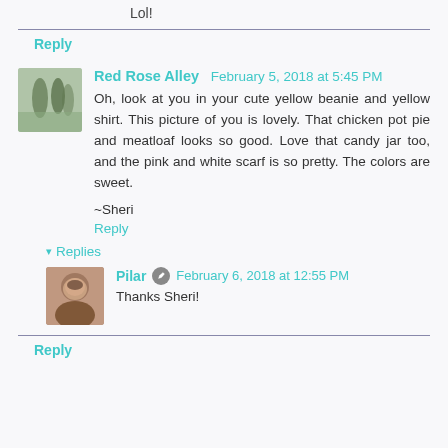Lol!
Reply
Red Rose Alley  February 5, 2018 at 5:45 PM
Oh, look at you in your cute yellow beanie and yellow shirt. This picture of you is lovely. That chicken pot pie and meatloaf looks so good. Love that candy jar too, and the pink and white scarf is so pretty. The colors are sweet.

~Sheri
Reply
Replies
Pilar  February 6, 2018 at 12:55 PM
Thanks Sheri!
Reply